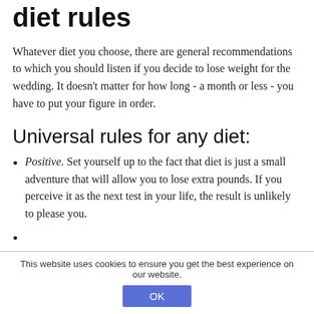diet rules
Whatever diet you choose, there are general recommendations to which you should listen if you decide to lose weight for the wedding. It doesn't matter for how long - a month or less - you have to put your figure in order.
Universal rules for any diet:
Positive. Set yourself up to the fact that diet is just a small adventure that will allow you to lose extra pounds. If you perceive it as the next test in your life, the result is unlikely to please you.
•
This website uses cookies to ensure you get the best experience on our website.